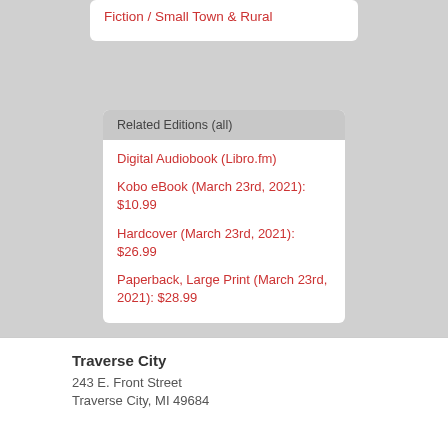Fiction / Small Town & Rural
Related Editions (all)
Digital Audiobook (Libro.fm)
Kobo eBook (March 23rd, 2021): $10.99
Hardcover (March 23rd, 2021): $26.99
Paperback, Large Print (March 23rd, 2021): $28.99
Traverse City
243 E. Front Street
Traverse City, MI 49684